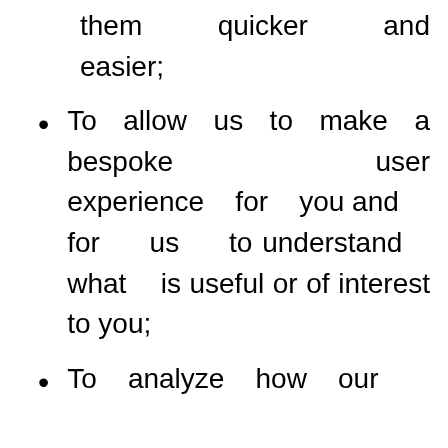them quicker and easier;
To allow us to make a bespoke user experience for you and for us to understand what is useful or of interest to you;
To analyze how our